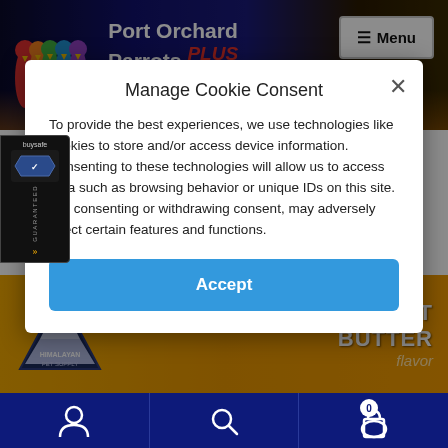[Figure (screenshot): Port Orchard Parrots Plus website header with colorful parrots logo, site name, tagline 'Exotic Pet Services & Supply', and Menu button]
Search for... (to exclude keywords precede them with min...
Manage Cookie Consent
To provide the best experiences, we use technologies like cookies to store and/or access device information. Consenting to these technologies will allow us to access data such as browsing behavior or unique IDs on this site. Not consenting or withdrawing consent, may adversely affect certain features and functions.
Accept
[Figure (logo): BuySafe Guaranteed badge on left side]
[Figure (photo): Himalayan Pet Supply peanut butter flavor product packaging on orange background]
Bottom navigation bar with user account, search, and cart icons